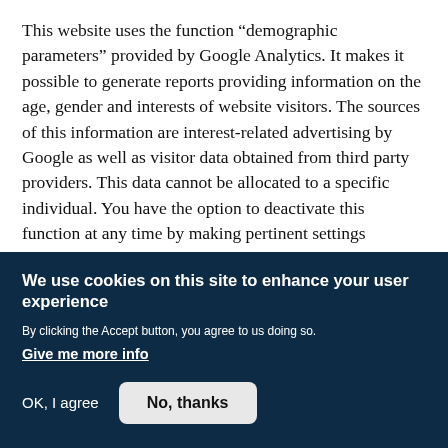This website uses the function “demographic parameters” provided by Google Analytics. It makes it possible to generate reports providing information on the age, gender and interests of website visitors. The sources of this information are interest-related advertising by Google as well as visitor data obtained from third party providers. This data cannot be allocated to a specific individual. You have the option to deactivate this function at any time by making pertinent settings changes for advertising in your Google account or you can generally prohibit the
We use cookies on this site to enhance your user experience
By clicking the Accept button, you agree to us doing so.
Give me more info
OK, I agree
No, thanks